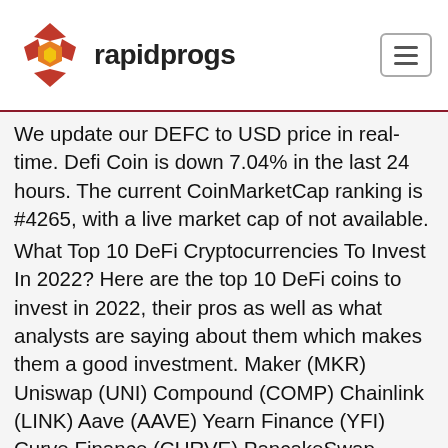rapidprogs
We update our DEFC to USD price in real-time. Defi Coin is down 7.04% in the last 24 hours. The current CoinMarketCap ranking is #4265, with a live market cap of not available.
What Top 10 DeFi Cryptocurrencies To Invest In 2022? Here are the top 10 DeFi coins to invest in 2022, their pros as well as what analysts are saying about them which makes them a good investment. Maker (MKR) Uniswap (UNI) Compound (COMP) Chainlink (LINK) Aave (AAVE) Yearn Finance (YFI) Curve Finance (CURVE) PancakeSwap (CAKE) Synthetix (SNX)